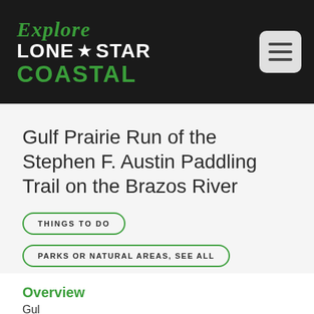[Figure (logo): Explore Lone Star Coastal logo in white and green on dark background, with hamburger menu icon]
Gulf Prairie Run of the Stephen F. Austin Paddling Trail on the Brazos River
THINGS TO DO
PARKS OR NATURAL AREAS, SEE ALL
Overview